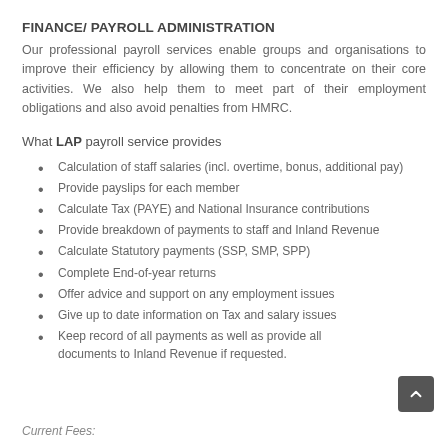FINANCE/ PAYROLL ADMINISTRATION
Our professional payroll services enable groups and organisations to improve their efficiency by allowing them to concentrate on their core activities. We also help them to meet part of their employment obligations and also avoid penalties from HMRC.
What LAP payroll service provides
Calculation of staff salaries (incl. overtime, bonus, additional pay)
Provide payslips for each member
Calculate Tax (PAYE) and National Insurance contributions
Provide breakdown of payments to staff and Inland Revenue
Calculate Statutory payments (SSP, SMP, SPP)
Complete End-of-year returns
Offer advice and support on any employment issues
Give up to date information on Tax and salary issues
Keep record of all payments as well as provide all documents to Inland Revenue if requested.
Current Fees: